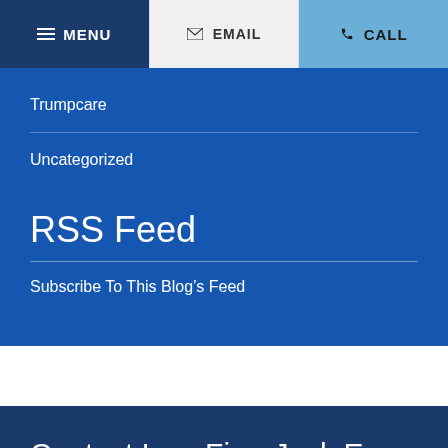MENU | EMAIL | CALL
Trumpcare
Uncategorized
RSS Feed
Subscribe To This Blog's Feed
Contact Law Firm Jack E. Urquhart Attorney at Law